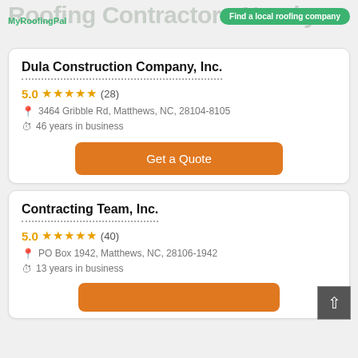MyRoofingPal | Roofing Contractors Nearby | Find a local roofing company
Dula Construction Company, Inc.
5.0 ★★★★★ (28)
3464 Gribble Rd, Matthews, NC, 28104-8105
46 years in business
Get a Quote
Contracting Team, Inc.
5.0 ★★★★★ (40)
PO Box 1942, Matthews, NC, 28106-1942
13 years in business